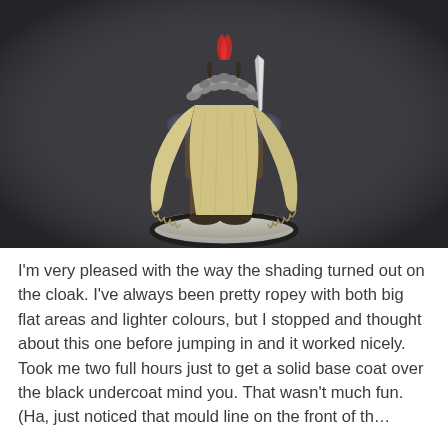[Figure (photo): Painted Warhammer-style miniature figure photographed from the back against a dark grey background. The figure wears layered armour, has a large shaggy mane of grey/silver hair with a red plume at the top, a flowing tattered cream/yellow cloak, and stands on a white-rimmed oval base.]
I'm very pleased with the way the shading turned out on the cloak. I've always been pretty ropey with both big flat areas and lighter colours, but I stopped and thought about this one before jumping in and it worked nicely. Took me two full hours just to get a solid base coat over the black undercoat mind you. That wasn't much fun. (Ha, just noticed that mould line on the front of th...